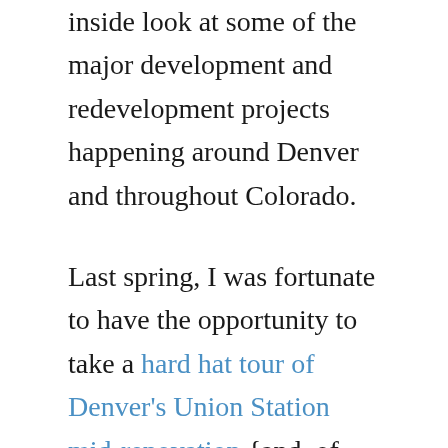inside look at some of the major development and redevelopment projects happening around Denver and throughout Colorado.
Last spring, I was fortunate to have the opportunity to take a hard hat tour of Denver's Union Station mid-renovation {and, of course, I blogged all about it}. Ever since that time, I have been eager to take another tour as soon as